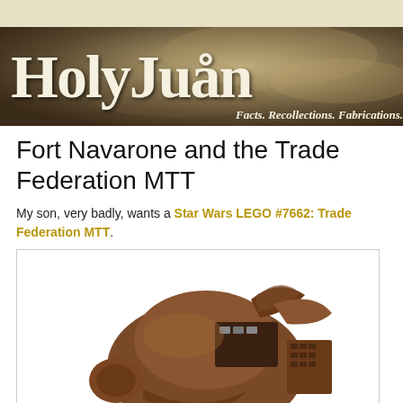[Figure (illustration): HolyJuan blog banner with large serif text 'HolyJuån' and subtitle 'Facts. Recollections. Fabrications.' on a sandy/brown textured background]
Fort Navarone and the Trade Federation MTT
My son, very badly, wants a Star Wars LEGO #7662: Trade Federation MTT.
[Figure (photo): A brown LEGO Star Wars Trade Federation MTT (Multi Troop Transport) set, model #7662, showing the large rounded vehicle with detailed mechanical parts, viewed from an angle]